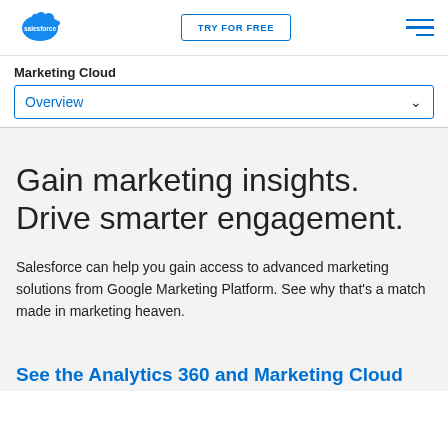salesforce | TRY FOR FREE | [menu]
Marketing Cloud
Overview
Gain marketing insights. Drive smarter engagement.
Salesforce can help you gain access to advanced marketing solutions from Google Marketing Platform. See why that's a match made in marketing heaven.
See the Analytics 360 and Marketing Cloud